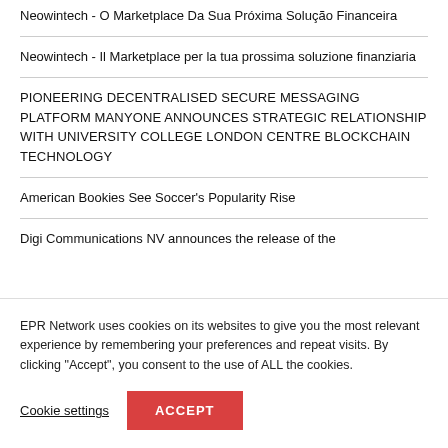Neowintech - O Marketplace Da Sua Próxima Solução Financeira
Neowintech - Il Marketplace per la tua prossima soluzione finanziaria
PIONEERING DECENTRALISED SECURE MESSAGING PLATFORM MANYONE ANNOUNCES STRATEGIC RELATIONSHIP WITH UNIVERSITY COLLEGE LONDON CENTRE BLOCKCHAIN TECHNOLOGY
American Bookies See Soccer's Popularity Rise
Digi Communications NV announces the release of the
EPR Network uses cookies on its websites to give you the most relevant experience by remembering your preferences and repeat visits. By clicking "Accept", you consent to the use of ALL the cookies.
Cookie settings | ACCEPT